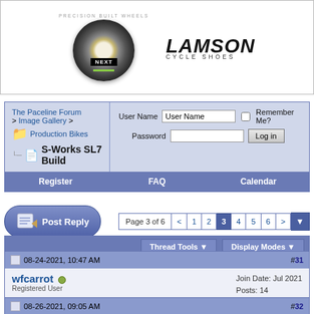[Figure (illustration): Ad banner with bicycle wheel and Lamson Cycle Shoes logo]
[Figure (screenshot): Forum navigation breadcrumb and login form: The Paceline Forum > Image Gallery > Production Bikes > S-Works SL7 Build]
[Figure (screenshot): Post Reply button and pagination: Page 3 of 6, buttons 1 2 3 4 5 6]
[Figure (screenshot): Thread Tools and Display Modes toolbar]
08-24-2021, 10:47 AM  #31
wfcarrot
Registered User
Join Date: Jul 2021
Posts: 14
Damn, so good looking. Love the purple color in the sunshine
08-26-2021, 09:05 AM  #32
bardo
Junior Member
Join Date: Dec 2018
Posts: 4